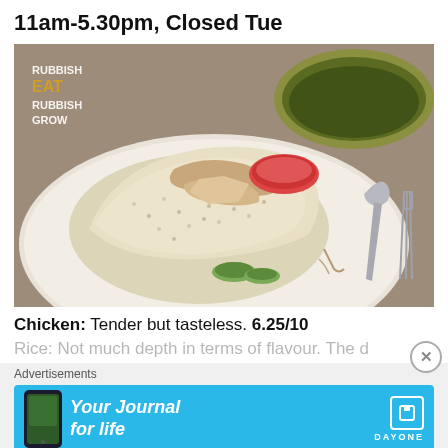11am-5.30pm, Closed Tue
[Figure (photo): Plate of Hainanese chicken rice with chili sauce, cucumber garnish, and a spoon beside it. A yellow bowl of soup is in the background. Watermark reads 'RUBBISH EAT RUBBISH GROW' in top-left corner.]
Chicken: Tender but tasteless. 6.25/10
Advertisements
[Figure (other): Advertisement banner for 'Your Journal for life' by DayOne app, featuring a phone mockup and cyan background.]